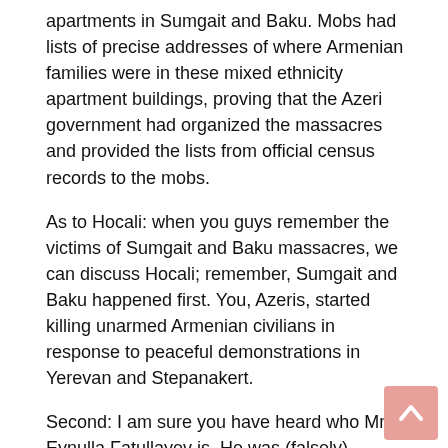apartments in Sumgait and Baku. Mobs had lists of precise addresses of where Armenian families were in these mixed ethnicity apartment buildings, proving that the Azeri government had organized the massacres and provided the lists from official census records to the mobs.
As to Hocali: when you guys remember the victims of Sumgait and Baku massacres, we can discuss Hocali; remember, Sumgait and Baku happened first. You, Azeris, started killing unarmed Armenian civilians in response to peaceful demonstrations in Yerevan and Stepanakert.
Second: I am sure you have heard who Mr. Eynulla Fatullayev is. He was (falsely) convicted of defamation after writing two articles that disputed the official – manufactured –  account of the 1992 mass killings of Azerbaijani civilians in the town of Khojaly. I also sure you have  heard of Mr. Ayaz Mutalibov, the First President of Azerbaijan, and what he has said about Khojali, and the Azeri opposition, and the attempts to frame him and all that….
[Figure (other): Back to top button — a pinkish-red rounded square with an upward-pointing chevron arrow icon]